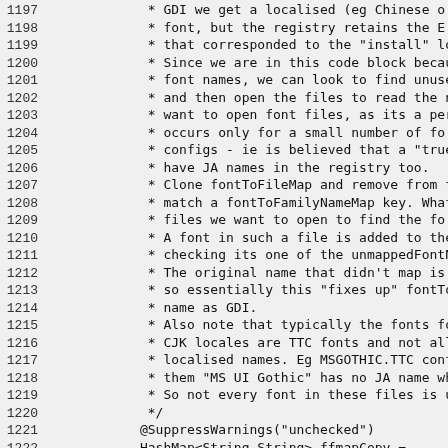Source code listing lines 1197-1226 with comments about GDI font handling and Java code snippet including @SuppressWarnings, HashMap, and for loop.